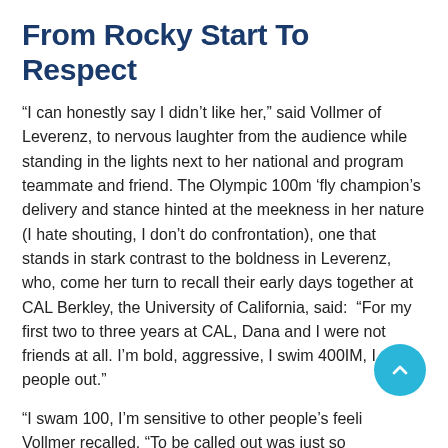From Rocky Start To Respect
“I can honestly say I didn’t like her,” said Vollmer of Leverenz, to nervous laughter from the audience while standing in the lights next to her national and program teammate and friend. The Olympic 100m ‘fly champion’s delivery and stance hinted at the meekness in her nature (I hate shouting, I don’t do confrontation), one that stands in stark contrast to the boldness in Leverenz, who, come her turn to recall their early days together at CAL Berkley, the University of California, said:  “For my first two to three years at CAL, Dana and I were not friends at all. I’m bold, aggressive, I swim 400IM, I call people out.”
“I swam 100, I’m sensitive to other people’s feelings,” Vollmer recalled. “To be called out was just so embarrassing for me but now I know that it was a real growing experience as well … to now know we are